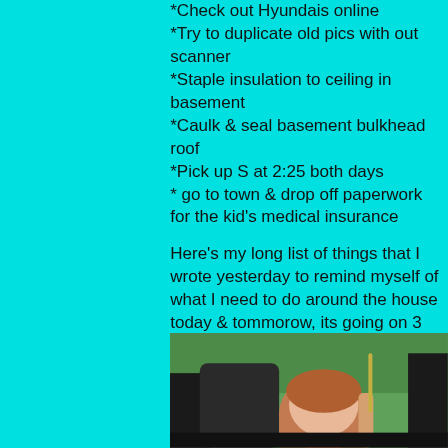*Check out Hyundais online
*Try to duplicate old pics with out scanner
*Staple insulation to ceiling in basement
*Caulk & seal basement bulkhead roof
*Pick up S at 2:25 both days
* go to town & drop off paperwork for the kid's medical insurance
Here's my long list of things that I wrote yesterday to remind myself of what I need to do around the house today & tommorow, its going on 3 pm & I haven't done a thing but this right here & take the trash out. no, now that I'm looking at the list It does say email the ex with a question about how much I should plan on it costing to have stairs put in my house (we have an attic access to the upstairs currently though the rooms up there are completely finished) as a sop to my consience I can't cut miss 10's hair until she gets home from school, I
[Figure (photo): Person sitting in a car, photographed from outside or from the side, with greenery visible in the background.]